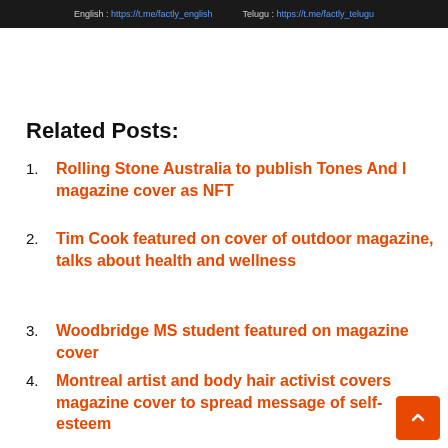[Figure (screenshot): Dark banner with text: English: https://t.me/factly_english   Telugu: https://t.me/factly_telugu, with red block on left and blue circle on right]
Related Posts:
Rolling Stone Australia to publish Tones And I magazine cover as NFT
Tim Cook featured on cover of outdoor magazine, talks about health and wellness
Woodbridge MS student featured on magazine cover
Montreal artist and body hair activist covers magazine cover to spread message of self-esteem